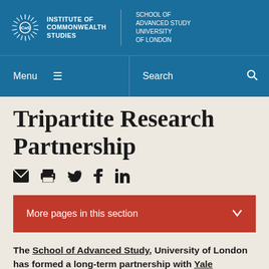[Figure (logo): Institute of Commonwealth Studies / School of Advanced Study, University of London logo in blue header bar]
Menu  ≡  Search  🔍
Tripartite Research Partnership
[Figure (infographic): Social sharing icons row: email, print, Twitter, Facebook, LinkedIn]
More pages in this section
The School of Advanced Study, University of London has formed a long-term partnership with Yale University and the National Institute of Advanced...